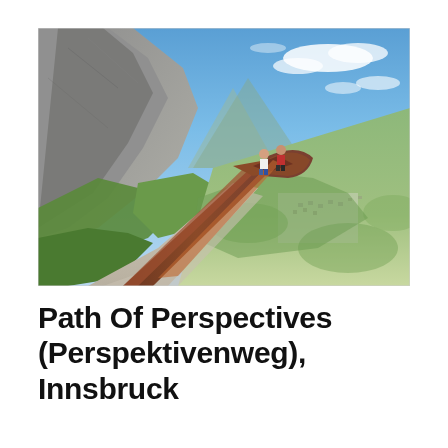[Figure (photo): Outdoor alpine photograph showing the Path of Perspectives (Perspektivenweg) in Innsbruck. A curved rusty steel wall structure follows a mountain path on a steep slope. Two people stand at the curved viewpoint railing overlooking the Inn valley and city of Innsbruck below. Rocky alpine peaks are visible to the left, green mountain slopes and valley in the distance, under a blue sky with light clouds.]
Path Of Perspectives (Perspektivenweg), Innsbruck